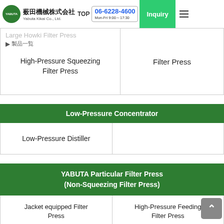薮田機械株式会社 Yabuta Kikai Co., Ltd. TOP 06-6228-4600 Mon-Fri 9:00～17:30 Inquiry
Large Howki Filter Press
Large Filter Press
▶ 製品一覧
High-Pressure Squeezing Filter Press
Low-Pressure Concentrator
Low-Pressure Distiller
YABUTA Particular Filter Press (Non-Squeezing Filter Press)
Jacket equipped Filter Press
High-Pressure Feeding Filter Press